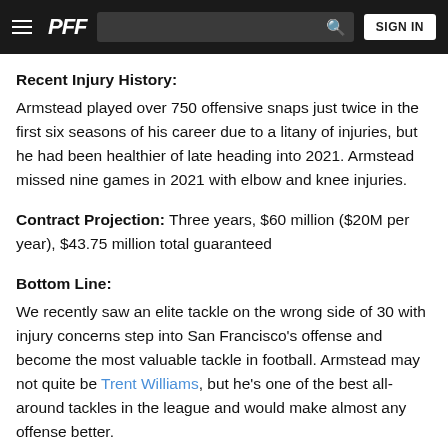≡  PFF  [search bar]  SIGN IN
Recent Injury History:
Armstead played over 750 offensive snaps just twice in the first six seasons of his career due to a litany of injuries, but he had been healthier of late heading into 2021. Armstead missed nine games in 2021 with elbow and knee injuries.
Contract Projection: Three years, $60 million ($20M per year), $43.75 million total guaranteed
Bottom Line:
We recently saw an elite tackle on the wrong side of 30 with injury concerns step into San Francisco's offense and become the most valuable tackle in football. Armstead may not quite be Trent Williams, but he's one of the best all-around tackles in the league and would make almost any offense better.